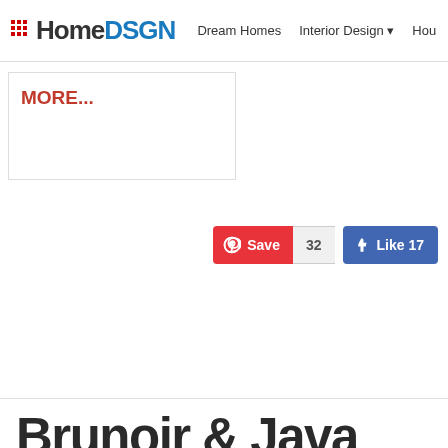HomeDSGN | Dream Homes | Interior Design | Hou...
MORE...
[Figure (screenshot): Pinterest Save button (red, count 32) and Facebook Like 17 button (blue)]
Brunoir & Java Architecture Come Together to Create an Elegant Interior for Nuun Jewels in Paris, France